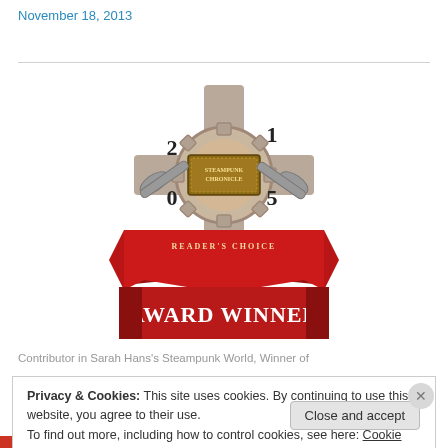November 18, 2013
[Figure (logo): Steampunk Chronicle 2015 Reader's Choice Award Winner badge — a steampunk-styled shield with gears, wrenches, and a red banner reading READER'S CHOICE AWARD WINNER]
Contributor in Sarah Hans's Steampunk World, Winner of
Privacy & Cookies: This site uses cookies. By continuing to use this website, you agree to their use.
To find out more, including how to control cookies, see here: Cookie Policy
Close and accept